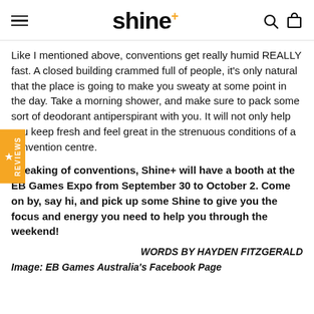shine+
Like I mentioned above, conventions get really humid REALLY fast. A closed building crammed full of people, it's only natural that the place is going to make you sweaty at some point in the day. Take a morning shower, and make sure to pack some sort of deodorant antiperspirant with you. It will not only help you keep fresh and feel great in the strenuous conditions of a convention centre.
Speaking of conventions, Shine+ will have a booth at the EB Games Expo from September 30 to October 2. Come on by, say hi, and pick up some Shine to give you the focus and energy you need to help you through the weekend!
WORDS BY HAYDEN FITZGERALD
Image: EB Games Australia's Facebook Page